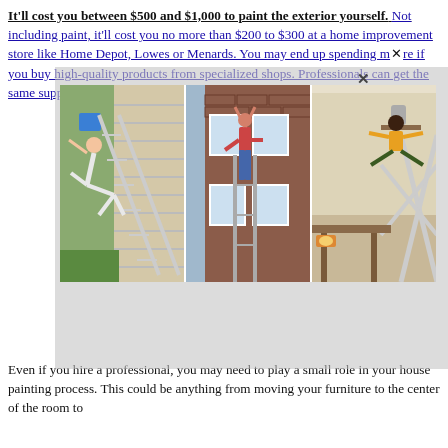It'll cost you between $500 and $1,000 to paint the exterior yourself. Not including paint, it'll cost you no more than $200 to $300 at a home improvement store like Home Depot, Lowes or Menards. You may end up spending more if you buy high-quality products from specialized shops. Professionals can get the same supplies for about half what you'll pay. Denver House Painting
[Figure (photo): Three panel photo collage showing dangerous ladder accidents: left panel shows a person falling off a ladder leaning against a house exterior, middle panel shows a person hanging from window bars on a brick house exterior, right panel shows a person doing acrobatics on scaffolding/ladder indoors.]
Even if you hire a professional, you may need to play a small role in your house painting process. This could be anything from moving your furniture to the center of the room to